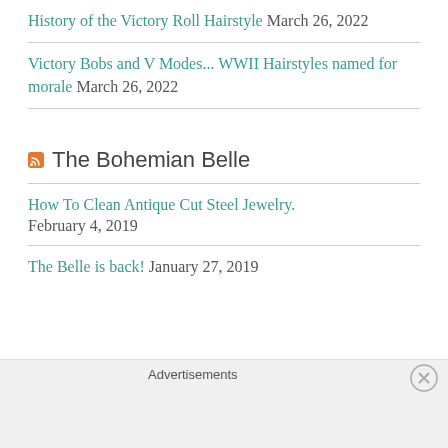History of the Victory Roll Hairstyle March 26, 2022
Victory Bobs and V Modes... WWII Hairstyles named for morale March 26, 2022
The Bohemian Belle
How To Clean Antique Cut Steel Jewelry. February 4, 2019
The Belle is back! January 27, 2019
Advertisements